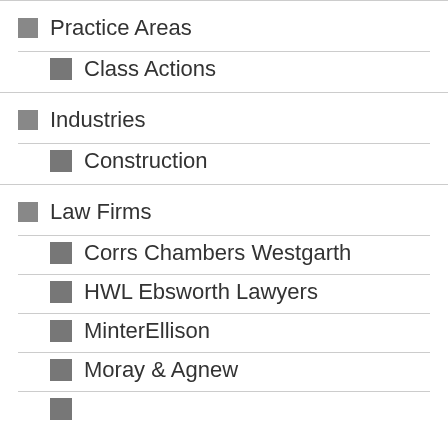Practice Areas
Class Actions
Industries
Construction
Law Firms
Corrs Chambers Westgarth
HWL Ebsworth Lawyers
MinterEllison
Moray & Agnew